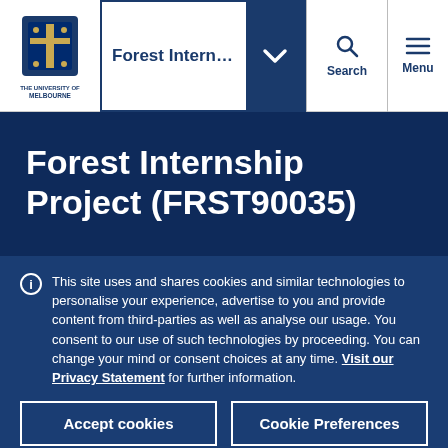Forest Internship Project (FRST90035) — University of Melbourne navigation bar
Forest Internship Project (FRST90035)
This site uses and shares cookies and similar technologies to personalise your experience, advertise to you and provide content from third-parties as well as analyse our usage. You consent to our use of such technologies by proceeding. You can change your mind or consent choices at any time. Visit our Privacy Statement for further information.
Accept cookies
Cookie Preferences